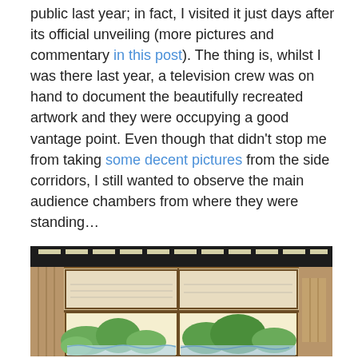public last year; in fact, I visited it just days after its official unveiling (more pictures and commentary in this post). The thing is, whilst I was there last year, a television crew was on hand to document the beautifully recreated artwork and they were occupying a good vantage point. Even though that didn't stop me from taking some decent pictures from the side corridors, I still wanted to observe the main audience chambers from where they were standing…
…and I finally managed to do so this time around.
[Figure (photo): Interior photograph of a Japanese-style audience chamber showing sliding panel doors (fusuma) decorated with green and blue landscape paintings, wooden framing, and a dark ceiling with lighting strips.]